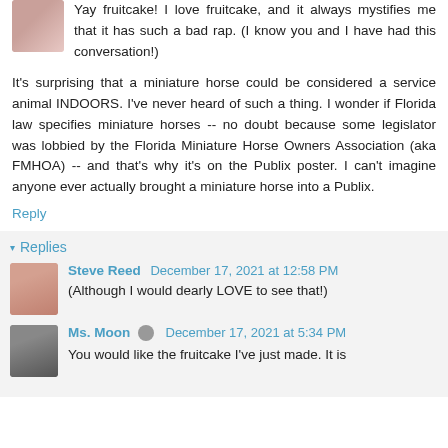[Figure (photo): Small avatar photo of a person, partially visible at top-left]
Yay fruitcake! I love fruitcake, and it always mystifies me that it has such a bad rap. (I know you and I have had this conversation!)
It's surprising that a miniature horse could be considered a service animal INDOORS. I've never heard of such a thing. I wonder if Florida law specifies miniature horses -- no doubt because some legislator was lobbied by the Florida Miniature Horse Owners Association (aka FMHOA) -- and that's why it's on the Publix poster. I can't imagine anyone ever actually brought a miniature horse into a Publix.
Reply
Replies
[Figure (photo): Avatar photo of Steve Reed]
Steve Reed December 17, 2021 at 12:58 PM
(Although I would dearly LOVE to see that!)
[Figure (photo): Avatar photo of Ms. Moon]
Ms. Moon December 17, 2021 at 5:34 PM
You would like the fruitcake I've just made. It is